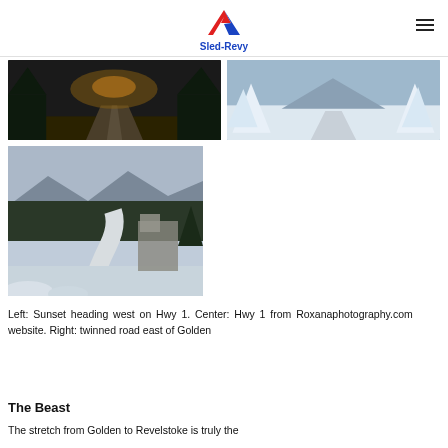Sled-Revy
[Figure (photo): Sunset heading west on Hwy 1 – winter road photo with dark sky and snow-covered trees]
[Figure (photo): Hwy 1 from Roxanaphotography.com – winter road with snow-laden conifers]
[Figure (photo): Twinned road east of Golden – snowy mountain road with truck]
Left: Sunset heading west on Hwy 1. Center: Hwy 1 from Roxanaphotography.com website. Right: twinned road east of Golden
The Beast
The stretch from Golden to Revelstoke is truly the